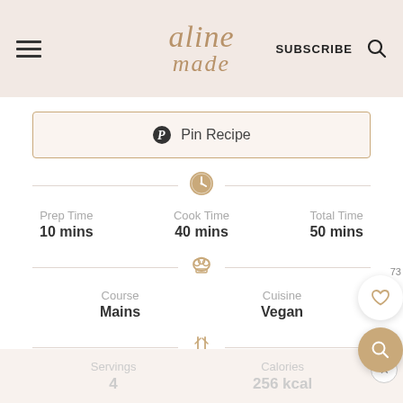aline made | SUBSCRIBE
Pin Recipe
Prep Time 10 mins | Cook Time 40 mins | Total Time 50 mins
Course Mains | Cuisine Vegan
Servings 4 | Calories 256 kcal